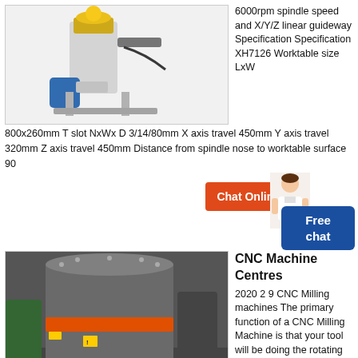[Figure (photo): CNC drilling/milling machine with yellow and blue components on a metal stand, white background]
6000rpm spindle speed and X/Y/Z linear guideway Specification Specification XH7126 Worktable size LxW 800x260mm T slot NxWx D 3/14/80mm X axis travel 450mm Y axis travel 320mm Z axis travel 450mm Distance from spindle nose to worktable surface 90
[Figure (photo): Large industrial CNC machine centre with grey cylindrical body and orange band, blue motor at base, in factory setting]
CNC Machine Centres
2020 2 9 CNC Milling machines The primary function of a CNC Milling Machine is that your tool will be doing the rotating and moving while your workpiece stays in one spot generally Milling is a more specific process that is similar to drilling and cutting These machines can also be either horizontal or